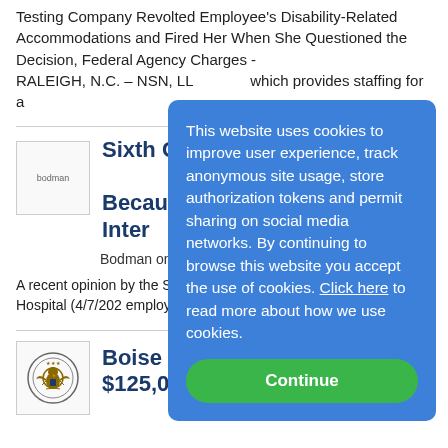Testing Company Revolted Employee's Disability-Related Accommodations and Fired Her When She Questioned the Decision, Federal Agency Charges - RALEIGH, N.C. – NSN, LL... which provides staffing for a...
Sixth Circuit Rei... to-Accommoda... Because Employ... Halted the Inter...
Bodman on 6/14/2022
A recent opinion by the Sixth... ("Sixth Circuit" or "Court")... Memorial Hospital (4/7/202... employer failed to accommo... potentially...more
Boise Recruiter to Pay $125,000 In Se...tle EEOC...
This website uses cookies to improve user experience, track anonymous site usage, store authorization tokens and permit sharing on social media networks. By continuing to browse this website you accept the use of cookies. Click here to read more about how we use cookies.
Continue